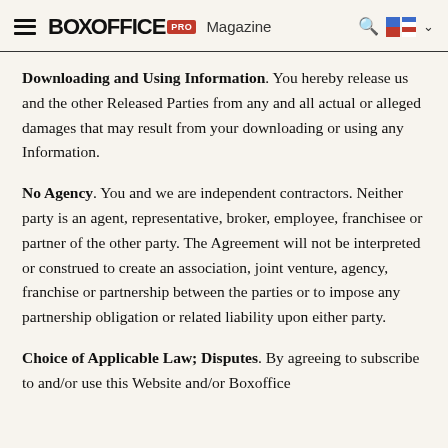BoxOffice PRO Magazine
Downloading and Using Information. You hereby release us and the other Released Parties from any and all actual or alleged damages that may result from your downloading or using any Information.
No Agency. You and we are independent contractors. Neither party is an agent, representative, broker, employee, franchisee or partner of the other party. The Agreement will not be interpreted or construed to create an association, joint venture, agency, franchise or partnership between the parties or to impose any partnership obligation or related liability upon either party.
Choice of Applicable Law; Disputes. By agreeing to subscribe to and/or use this Website and/or Boxoffice